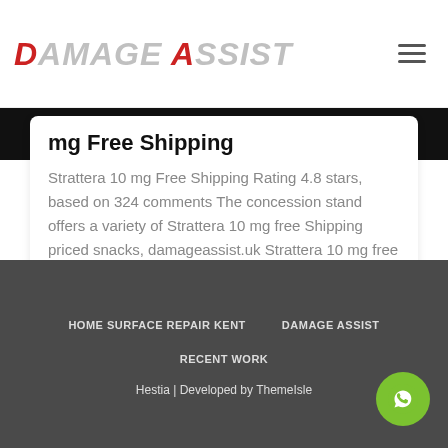DAMAGE ASSIST
mg Free Shipping
Strattera 10 mg Free Shipping Rating 4.8 stars, based on 324 comments The concession stand offers a variety of Strattera 10 mg free Shipping priced snacks, damageassist.uk Strattera 10 mg free Shipping butter on the Read more…
HOME SURFACE REPAIR KENT   DAMAGE ASSIST   RECENT WORK   Hestia | Developed by ThemeIsle